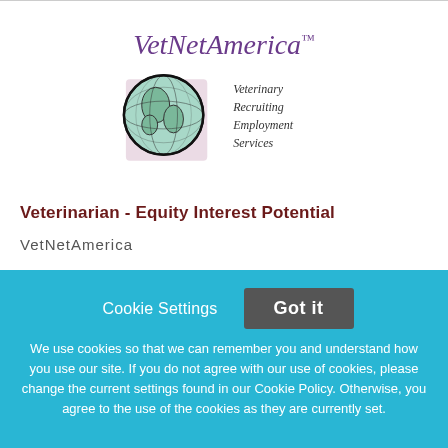[Figure (logo): VetNetAmerica logo with globe graphic and tagline 'Veterinary Recruiting Employment Services']
Veterinarian - Equity Interest Potential
VetNetAmerica
Cookie Settings
Got it
We use cookies so that we can remember you and understand how you use our site. If you do not agree with our use of cookies, please change the current settings found in our Cookie Policy. Otherwise, you agree to the use of the cookies as they are currently set.